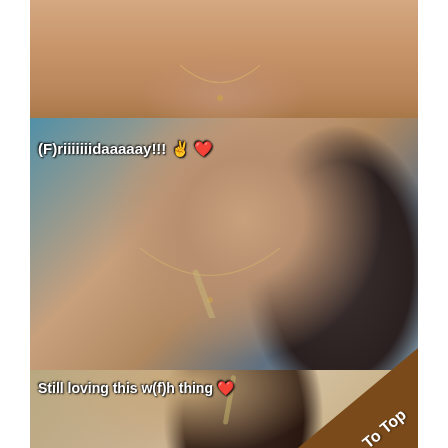[Figure (photo): Top photo: close-up of a person's neck/chest area with a necklace, skin tones, cropped selfie]
[Figure (photo): Middle photo: selfie of a woman with dark hair holding a rolled cigarette/joint in her mouth, wearing a necklace and teal top, with text overlay '(F)riiiiiiidaaaaay!!! ✌️❤️']
(F)riiiiiiidaaaaay!!!  ✌ ❤
[Figure (photo): Bottom photo: selfie of a woman with curly brown hair holding a rolled cigarette/joint in her mouth, smiling, with text overlay 'Still loving this w(f)h thing ❤' and a brown corner badge saying 'To Top']
Still loving this w(f)h thing ❤
To Top